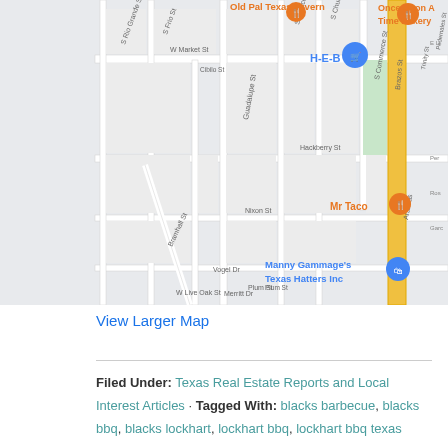[Figure (map): Google Maps street map showing area around S Commerce St, Guadalupe St, and nearby streets in Lockhart, TX. Shows labeled points of interest: Old Pal Texas Tavern, Once Upon A Time Bakery, H-E-B, Mr Taco, Manny Gammage's Texas Hatters Inc. Streets visible include W Market St, S Blanco St, S Church St, Hackberry St, Nixon St, Vogel Dr, Merritt Dr, Bramhall St, S Frio St, S Rio Grande St, Live Oak St, Plum St, Cibilo St, Guadalupe St, S Commerce St, Brazos St, Trinity St, Pedernales St, Aransas. A major yellow arterial road runs north-south on the right side.]
View Larger Map
Filed Under: Texas Real Estate Reports and Local Interest Articles · Tagged With: blacks barbecue, blacks bbq, blacks lockhart, lockhart bbq, lockhart bbq texas